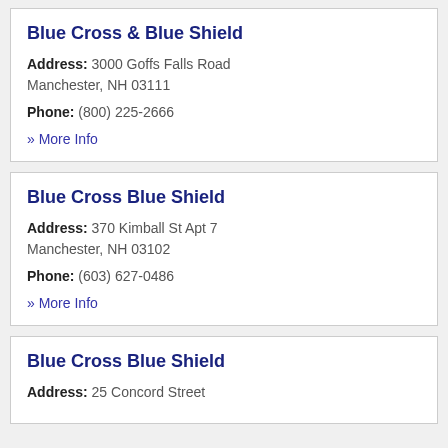Blue Cross & Blue Shield
Address: 3000 Goffs Falls Road Manchester, NH 03111
Phone: (800) 225-2666
» More Info
Blue Cross Blue Shield
Address: 370 Kimball St Apt 7 Manchester, NH 03102
Phone: (603) 627-0486
» More Info
Blue Cross Blue Shield
Address: 25 Concord Street